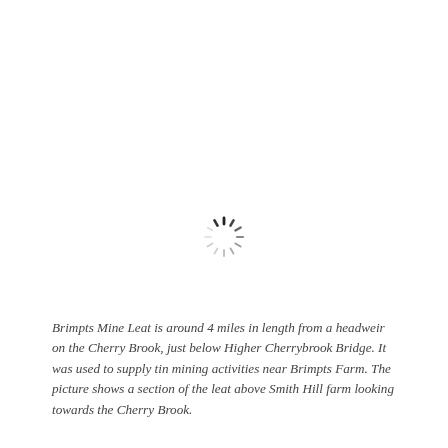[Figure (other): Loading spinner icon (circular dashed spinner) indicating an image is loading]
Brimpts Mine Leat is around 4 miles in length from a headweir on the Cherry Brook, just below Higher Cherrybrook Bridge. It was used to supply tin mining activities near Brimpts Farm. The picture shows a section of the leat above Smith Hill farm looking towards the Cherry Brook.